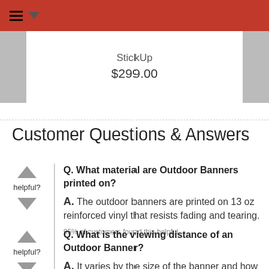StickUp $299.00
Customer Questions & Answers
Q. What material are Outdoor Banners printed on? A. The outdoor banners are printed on 13 oz reinforced vinyl that resists fading and tearing. 95% of customers found this helpful.
Q. What is the viewing distance of an Outdoor Banner? A. It varies by the size of the banner and how